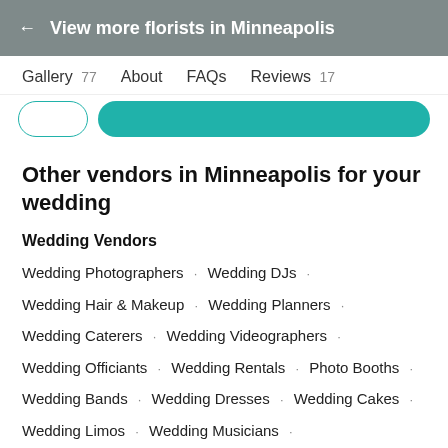← View more florists in Minneapolis
Gallery 77   About   FAQs   Reviews 17
Other vendors in Minneapolis for your wedding
Wedding Vendors
Wedding Photographers · Wedding DJs ·
Wedding Hair & Makeup · Wedding Planners ·
Wedding Caterers · Wedding Videographers ·
Wedding Officiants · Wedding Rentals · Photo Booths ·
Wedding Bands · Wedding Dresses · Wedding Cakes ·
Wedding Limos · Wedding Musicians ·